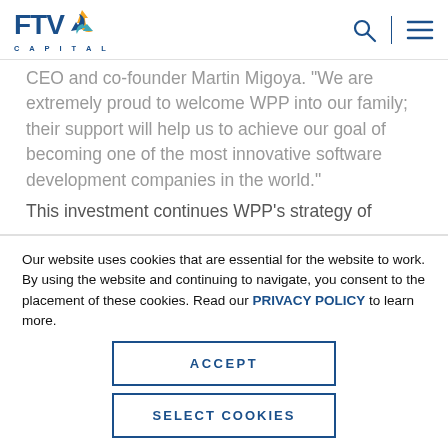FTV Capital
...CEO and co-founder Martin Migoya. “We are extremely proud to welcome WPP into our family; their support will help us to achieve our goal of becoming one of the most innovative software development companies in the world.”
This investment continues WPP’s strategy of
Our website uses cookies that are essential for the website to work. By using the website and continuing to navigate, you consent to the placement of these cookies. Read our PRIVACY POLICY to learn more.
ACCEPT
SELECT COOKIES